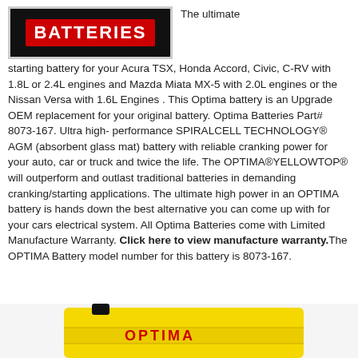[Figure (logo): Optima Batteries logo — white text on red/black background]
The ultimate starting battery for your Acura TSX, Honda Accord, Civic, C-RV with 1.8L or 2.4L engines and Mazda Miata MX-5 with 2.0L engines or the Nissan Versa with 1.6L Engines . This Optima battery is an Upgrade OEM replacement for your original battery. Optima Batteries Part# 8073-167. Ultra high-performance SPIRALCELL TECHNOLOGY® AGM (absorbent glass mat) battery with reliable cranking power for your auto, car or truck and twice the life. The OPTIMA®YELLOWTOP® will outperform and outlast traditional batteries in demanding cranking/starting applications. The ultimate high power in an OPTIMA battery is hands down the best alternative you can come up with for your cars electrical system. All Optima Batteries come with Limited Manufacture Warranty. Click here to view manufacture warranty.The OPTIMA Battery model number for this battery is 8073-167.
[Figure (photo): Optima yellow top battery product photo, partially visible at bottom of page]